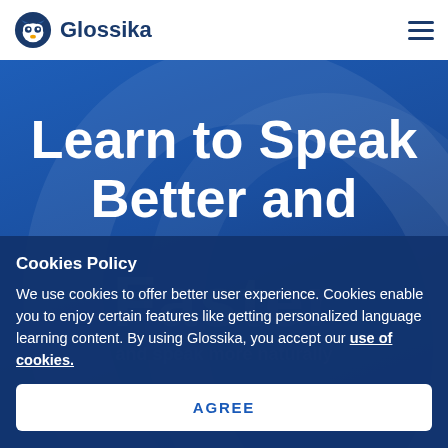Glossika
Learn to Speak Better and
Faster
Cookies Policy
We use cookies to offer better user experience. Cookies enable you to enjoy certain features like getting personalized language learning content. By using Glossika, you accept our use of cookies.
AGREE